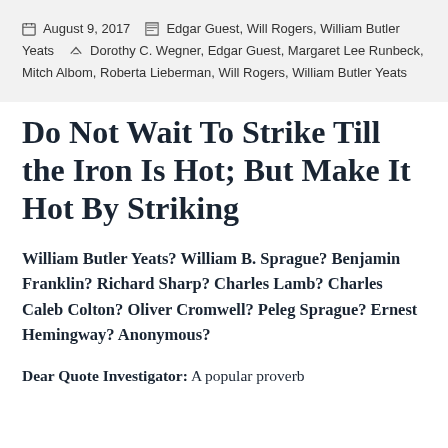August 9, 2017   Edgar Guest, Will Rogers, William Butler Yeats   Dorothy C. Wegner, Edgar Guest, Margaret Lee Runbeck, Mitch Albom, Roberta Lieberman, Will Rogers, William Butler Yeats
Do Not Wait To Strike Till the Iron Is Hot; But Make It Hot By Striking
William Butler Yeats? William B. Sprague? Benjamin Franklin? Richard Sharp? Charles Lamb? Charles Caleb Colton? Oliver Cromwell? Peleg Sprague? Ernest Hemingway? Anonymous?
Dear Quote Investigator: A popular proverb